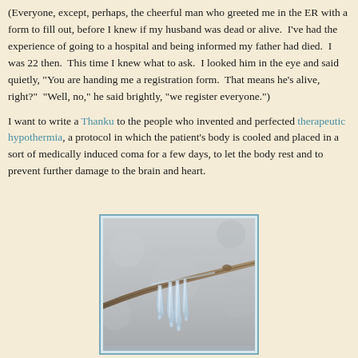(Everyone, except, perhaps, the cheerful man who greeted me in the ER with a form to fill out, before I knew if my husband was dead or alive. I've had the experience of going to a hospital and being informed my father had died. I was 22 then. This time I knew what to ask. I looked him in the eye and said quietly, "You are handing me a registration form. That means he's alive, right?" "Well, no," he said brightly, "we register everyone.")
I want to write a Thanku to the people who invented and perfected therapeutic hypothermia, a protocol in which the patient's body is cooled and placed in a sort of medically induced coma for a few days, to let the body rest and to prevent further damage to the brain and heart.
[Figure (photo): A close-up photograph of a thin tree branch with icicles hanging from it against a blurred gray-white background.]